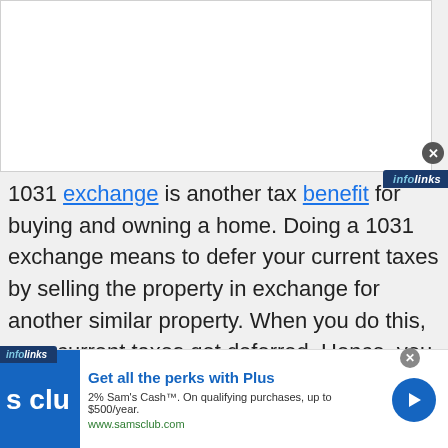[Figure (screenshot): White rectangle representing an advertisement or image placeholder at the top of the page]
1031 exchange is another tax benefit for buying and owning a home. Doing a 1031 exchange means to defer your current taxes by selling the property in exchange for another similar property. When you do this, your current taxes get deferred. Hence, you are not obligated to pay the tax at that moment. Some people continually defer taxes and let it accumulate until they are financially sound enough to pay them off.
[Figure (screenshot): Sam's Club advertisement banner: 'Get all the perks with Plus' with logo and 2% Sam's Cash offer]